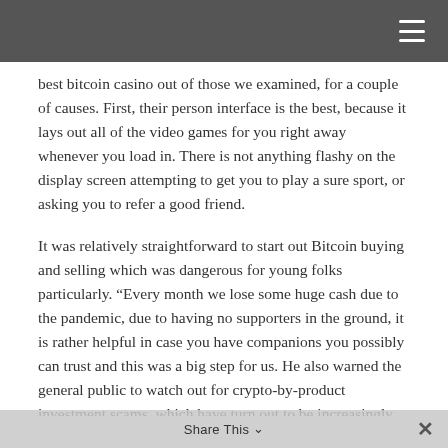best bitcoin casino out of those we examined, for a couple of causes. First, their person interface is the best, because it lays out all of the video games for you right away whenever you load in. There is not anything flashy on the display screen attempting to get you to play a sure sport, or asking you to refer a good friend.
It was relatively straightforward to start out Bitcoin buying and selling which was dangerous for young folks particularly. “Every month we lose some huge cash due to the pandemic, due to having no supporters in the ground, it is rather helpful in case you have companions you possibly can trust and this was a big step for us. He also warned the general public to watch out for crypto-by-product investment scams, which have turn out to be increasingly widespread,
Share This